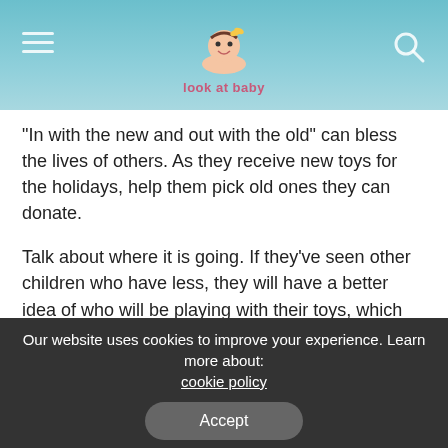[Figure (logo): Look at Baby website logo — cartoon baby illustration with site name 'look at baby' in stylized text, on a teal/blue gradient header bar with hamburger menu and search icon]
“In with the new and out with the old” can bless the lives of others. As they receive new toys for the holidays, help them pick old ones they can donate.
Talk about where it is going. If they’ve seen other children who have less, they will have a better idea of who will be playing with their toys, which can bring them joy.
During the holiday season, opportunities to give are all around us. For example, you can find a Sub 4 Santa or Giving Tree.
Our website uses cookies to improve your experience. Learn more about: cookie policy
Accept